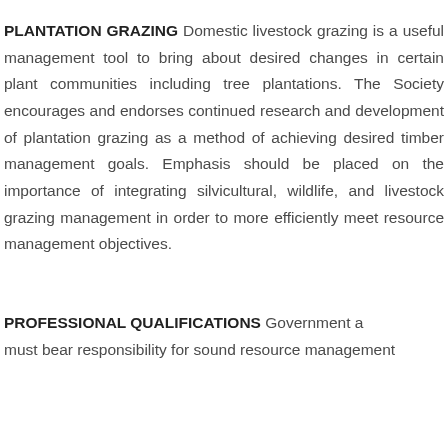PLANTATION GRAZING Domestic livestock grazing is a useful management tool to bring about desired changes in certain plant communities including tree plantations. The Society encourages and endorses continued research and development of plantation grazing as a method of achieving desired timber management goals. Emphasis should be placed on the importance of integrating silvicultural, wildlife, and livestock grazing management in order to more efficiently meet resource management objectives.
PROFESSIONAL QUALIFICATIONS Government a… must bear responsibility for sound resource management